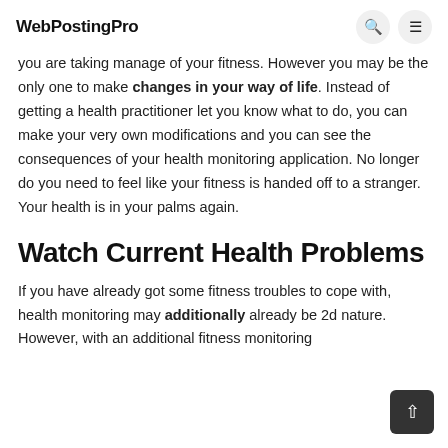WebPostingPro
you are taking manage of your fitness. However you may be the only one to make changes in your way of life. Instead of getting a health practitioner let you know what to do, you can make your very own modifications and you can see the consequences of your health monitoring application. No longer do you need to feel like your fitness is handed off to a stranger. Your health is in your palms again.
Watch Current Health Problems
If you have already got some fitness troubles to cope with, health monitoring may additionally already be 2d nature. However, with an additional fitness monitoring